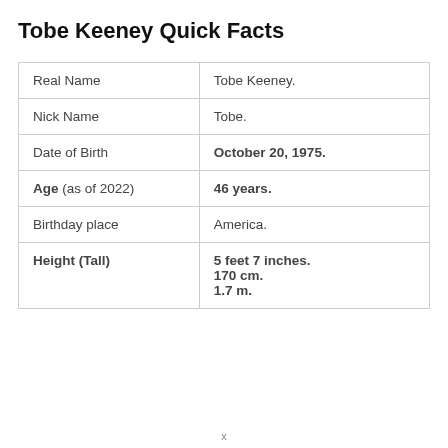Tobe Keeney Quick Facts
| Real Name | Tobe Keeney. |
| Nick Name | Tobe. |
| Date of Birth | October 20, 1975. |
| Age (as of 2022) | 46 years. |
| Birthday place | America. |
| Height (Tall) | 5 feet 7 inches.
170 cm.
1.7 m. |